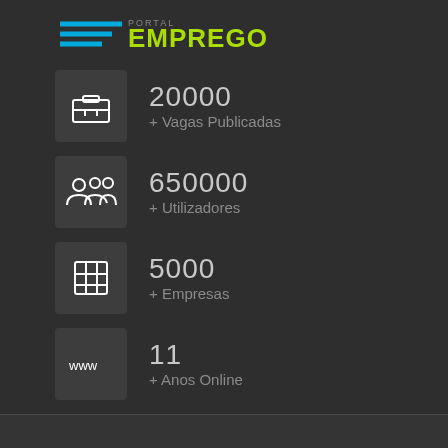[Figure (logo): Portal Emprego logo with blue horizontal lines and green EMPREGO text]
20000
+ Vagas Publicadas
650000
+ Utilizadores
5000
+ Empresas
11
+ Anos Online
Vagas Recentes